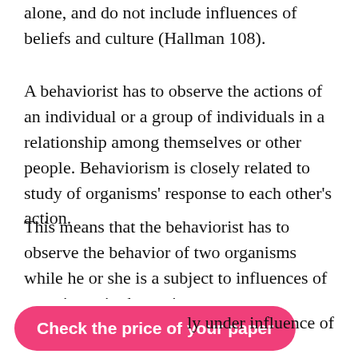alone, and do not include influences of beliefs and culture (Hallman 108).
A behaviorist has to observe the actions of an individual or a group of individuals in a relationship among themselves or other people. Behaviorism is closely related to study of organisms' response to each other's action.
This means that the behaviorist has to observe the behavior of two organisms while he or she is a subject to influences of experience in the society.
This experience significantly influences the manner in which behavior of the individual under observation is understood (Hallman109). The behaviorist has to make observations free of the influence of culture.
ly under influence of her objectivity is
[Figure (other): Pink call-to-action button reading 'Check the price of your paper']